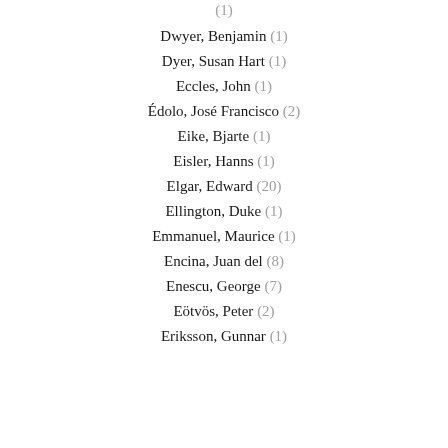Dwyer, Benjamin (1)
Dyer, Susan Hart (1)
Eccles, John (1)
Édolo, José Francisco (2)
Eike, Bjarte (1)
Eisler, Hanns (1)
Elgar, Edward (20)
Ellington, Duke (1)
Emmanuel, Maurice (1)
Encina, Juan del (8)
Enescu, George (7)
Eötvös, Peter (2)
Eriksson, Gunnar (1)